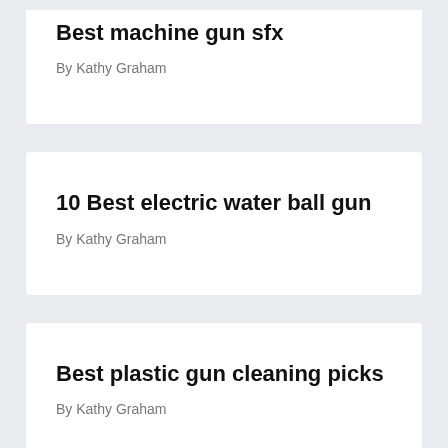Best machine gun sfx
By Kathy Graham
10 Best electric water ball gun
By Kathy Graham
Best plastic gun cleaning picks
By Kathy Graham